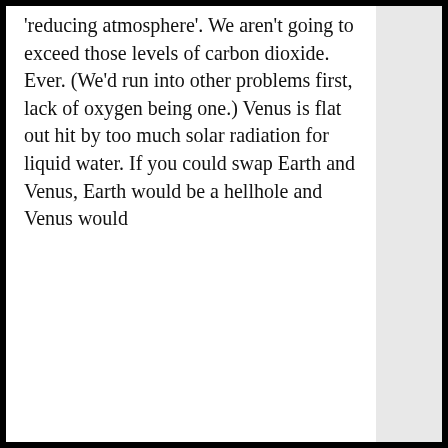'reducing atmosphere'. We aren't going to exceed those levels of carbon dioxide. Ever. (We'd run into other problems first, lack of oxygen being one.) Venus is flat out hit by too much solar radiation for liquid water. If you could swap Earth and Venus, Earth would be a hellhole and Venus would